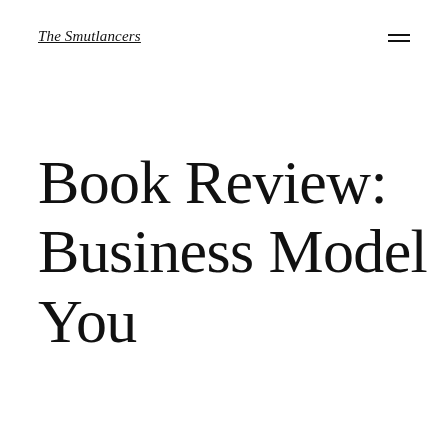The Smutlancers
Book Review: Business Model You